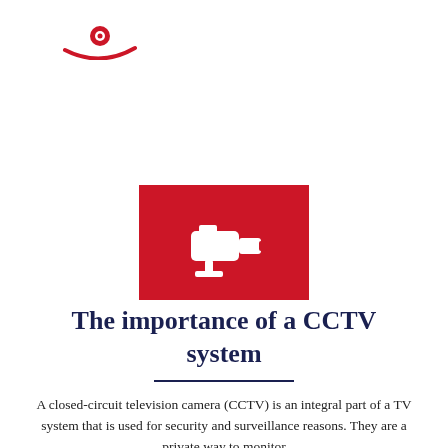[Figure (logo): Red eye/camera logo with swoosh lines in red]
[Figure (illustration): Red rectangle background with white CCTV security camera icon in the center]
The importance of a CCTV system
A closed-circuit television camera (CCTV) is an integral part of a TV system that is used for security and surveillance reasons. They are a private way to monitor